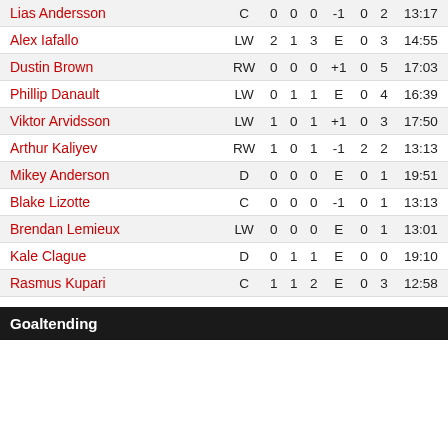| Player | Pos | G | A | Pts | +/- | PIM | SOG | TOI |
| --- | --- | --- | --- | --- | --- | --- | --- | --- |
| Lias Andersson | C | 0 | 0 | 0 | -1 | 0 | 2 | 13:17 |
| Alex Iafallo | LW | 2 | 1 | 3 | E | 0 | 3 | 14:55 |
| Dustin Brown | RW | 0 | 0 | 0 | +1 | 0 | 5 | 17:03 |
| Phillip Danault | LW | 0 | 1 | 1 | E | 0 | 4 | 16:39 |
| Viktor Arvidsson | LW | 1 | 0 | 1 | +1 | 0 | 3 | 17:50 |
| Arthur Kaliyev | RW | 1 | 0 | 1 | -1 | 2 | 2 | 13:13 |
| Mikey Anderson | D | 0 | 0 | 0 | E | 0 | 1 | 19:51 |
| Blake Lizotte | C | 0 | 0 | 0 | -1 | 0 | 1 | 13:13 |
| Brendan Lemieux | LW | 0 | 0 | 0 | E | 0 | 1 | 13:01 |
| Kale Clague | D | 0 | 1 | 1 | E | 0 | 0 | 19:10 |
| Rasmus Kupari | C | 1 | 1 | 2 | E | 0 | 3 | 12:58 |
Goaltending